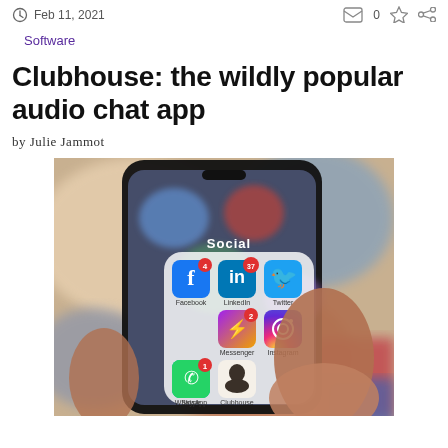Feb 11, 2021
Software
Clubhouse: the wildly popular audio chat app
by Julie Jammot
[Figure (photo): A hand holding a smartphone displaying a 'Social' app folder open, showing icons for Facebook, LinkedIn, Twitter, Instagram, Messenger, Skype, WhatsApp, and Clubhouse apps.]